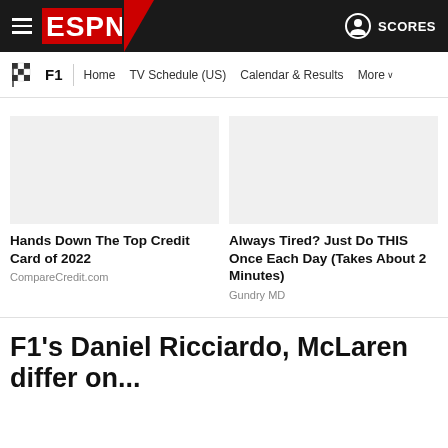ESPN — F1 | Home | TV Schedule (US) | Calendar & Results | More | SCORES
Hands Down The Top Credit Card of 2022
CompareCredit.com
Always Tired? Just Do THIS Once Each Day (Takes About 2 Minutes)
Gundry MD
F1's Daniel Ricciardo, McLaren differ on ...